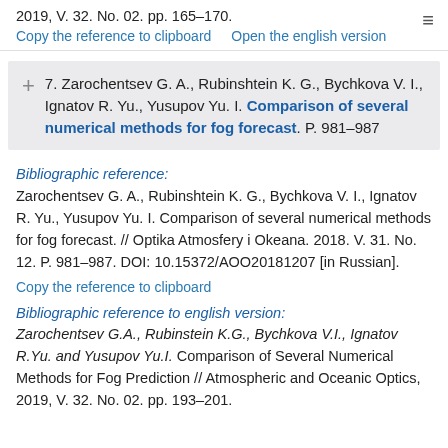2019, V. 32. No. 02. pp. 165–170.
Copy the reference to clipboard   Open the english version
7. Zarochentsev G. A., Rubinshtein K. G., Bychkova V. I., Ignatov R. Yu., Yusupov Yu. I. Comparison of several numerical methods for fog forecast. P. 981–987
Bibliographic reference:
Zarochentsev G. A., Rubinshtein K. G., Bychkova V. I., Ignatov R. Yu., Yusupov Yu. I. Comparison of several numerical methods for fog forecast. // Optika Atmosfery i Okeana. 2018. V. 31. No. 12. P. 981–987. DOI: 10.15372/AOO20181207 [in Russian].
Copy the reference to clipboard
Bibliographic reference to english version:
Zarochentsev G.A., Rubinstein K.G., Bychkova V.I., Ignatov R.Yu. and Yusupov Yu.I. Comparison of Several Numerical Methods for Fog Prediction // Atmospheric and Oceanic Optics, 2019, V. 32. No. 02. pp. 193–201.